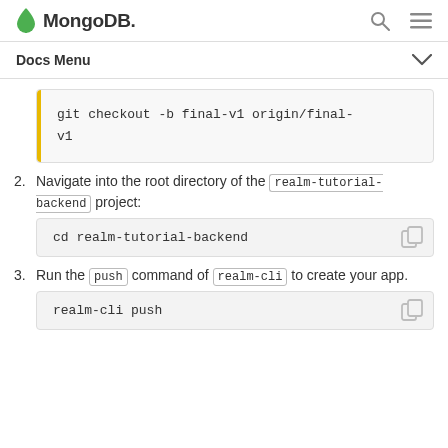MongoDB — Docs Menu
git checkout -b final-v1 origin/final-v1
2. Navigate into the root directory of the realm-tutorial-backend project:
cd realm-tutorial-backend
3. Run the push command of realm-cli to create your app.
realm-cli push